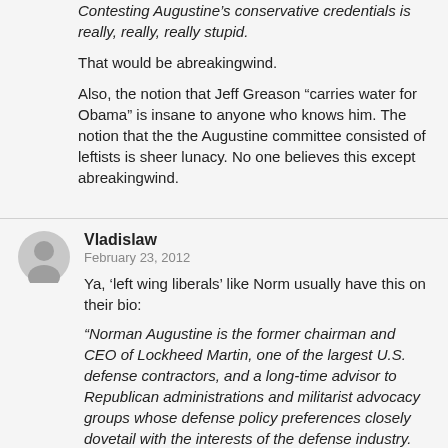Contesting Augustine’s conservative credentials is really, really, really stupid.
That would be abreakingwind.
Also, the notion that Jeff Greason "carries water for Obama" is insane to anyone who knows him. The notion that the the Augustine committee consisted of leftists is sheer lunacy. No one believes this except abreakingwind.
Vladislaw
February 23, 2012
Ya, ‘left wing liberals’ like Norm usually have this on their bio:
“Norman Augustine is the former chairman and CEO of Lockheed Martin, one of the largest U.S. defense contractors, and a long-time advisor to Republican administrations and militarist advocacy groups whose defense policy preferences closely dovetail with the interests of the defense industry.
Augustine has served as an advisor to the hardline Center for Security Policy, led by Frank Gaffney, and has participated in initiatives organized by the